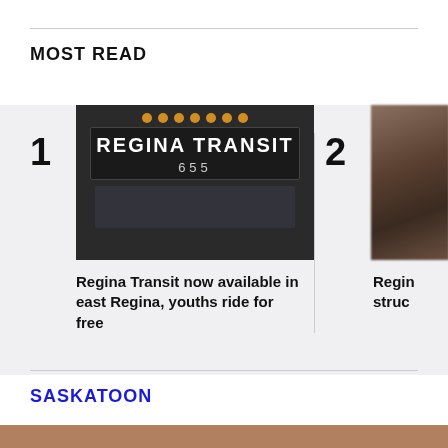MOST READ
[Figure (photo): Regina Transit bus #655 with LED sign displaying REGINA TRANSIT]
Regina Transit now available in east Regina, youths ride for free
[Figure (photo): Second story image, partially visible, dark blurred photo]
Regin struc
SASKATOON